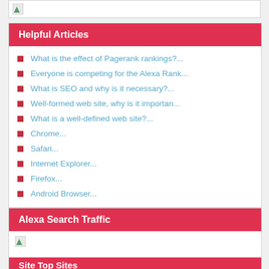[Figure (photo): Broken/placeholder image thumbnail at top]
Helpful Articles
What is the effect of Pagerank rankings?...
Everyone is competing for the Alexa Rank...
What is SEO and why is it necessary?...
Well-formed web site, why is it importan...
What is a well-defined web site?...
Chrome...
Safari...
Internet Explorer...
Firefox...
Android Browser...
Alexa Search Traffic
[Figure (photo): Broken/placeholder image for Alexa Search Traffic]
Site Top Sites